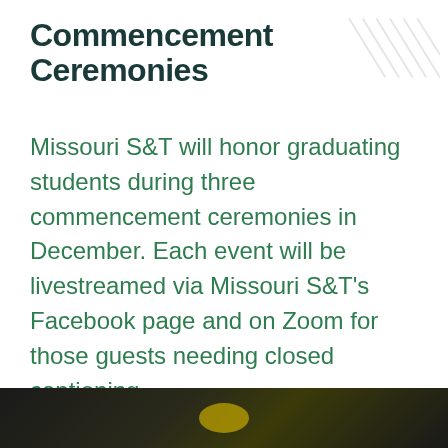Commencement Ceremonies
Missouri S&T will honor graduating students during three commencement ceremonies in December. Each event will be livestreamed via Missouri S&T's Facebook page and on Zoom for those guests needing closed captioning.
For more information, please email commencement@mst.edu
[Figure (photo): Bottom strip showing a photograph related to commencement/graduation, partially visible at the bottom of the page with dark background and a gold/yellow element visible.]